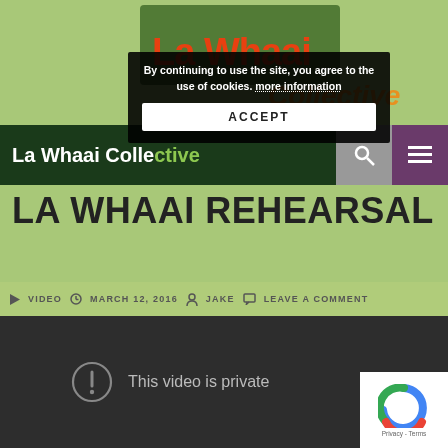[Figure (screenshot): La Whaai Collective website header with colorful logo text on green background]
By continuing to use the site, you agree to the use of cookies. more information
ACCEPT
La Whaai Collective
LA WHAAI REHEARSAL
VIDEO   MARCH 12, 2016   JAKE   LEAVE A COMMENT
[Figure (screenshot): Embedded video player showing 'This video is private' message on dark background]